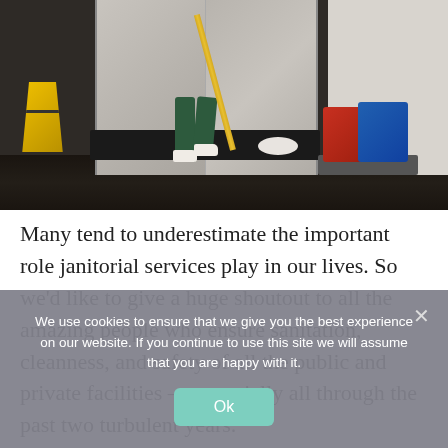[Figure (photo): A janitor in green uniform mopping a dark floor near elevator doors. A yellow wet floor warning sign is on the left. Red and blue mop buckets on a cart are on the right.]
Many tend to underestimate the important role janitorial services play in our lives. So we'd like to give a huge shoutout to all the amazing people who ensure sanitation, cleanness, and safety of all the public and private facilities — especially all through the past two turbulent years.
We use cookies to ensure that we give you the best experience on our website. If you continue to use this site we will assume that you are happy with it.